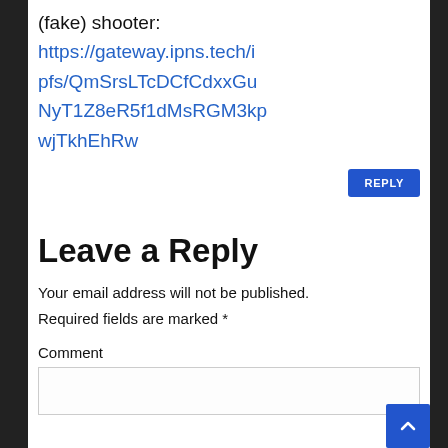(fake) shooter:
https://gateway.ipns.tech/ipfs/QmSrsLTcDCfCdxxGuNyT1Z8eR5f1dMsRGM3kpwjTkhEhRw
REPLY
Leave a Reply
Your email address will not be published. Required fields are marked *
Comment